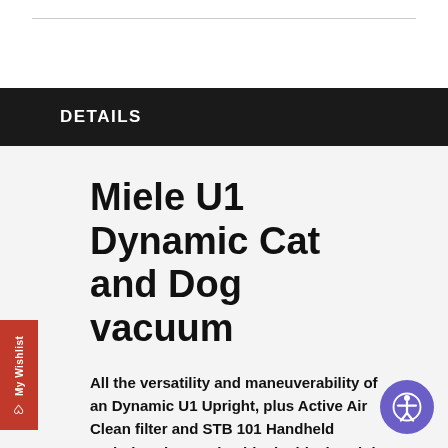DETAILS
Miele U1 Dynamic Cat and Dog vacuum
All the versatility and maneuverability of an Dynamic U1 Upright, plus Active Air Clean filter and STB 101 Handheld Turbobrush to make this the ideal upright for homes with pets.
If you love your furry companions, but hate the flurry of pet hair they leave around your home, the Miele Dynamic U1 Cat & Dog upright vacuum has the power and filtration